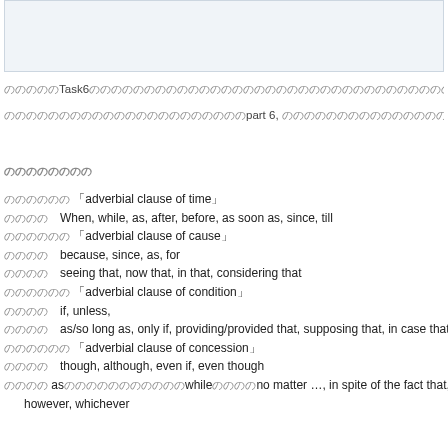[Figure (other): Light blue/grey shaded box at top of page]
ののののののTask6ののののののののののののののののののののののののののののののののののののののののののののの
のののののののののののののののののののののののpart 6, のののののののののののののののののののののののののののの
のののののののの
のののののの 「adverbial clause of time」
のののののWhen, while, as, after, before, as soon as, since, till
のののののの 「adverbial clause of cause」
のののののbecause, since, as, for
のののののseeing that, now that, in that, considering that
のののののの 「adverbial clause of condition」
のののののif, unless,
のののののas/so long as, only if, providing/provided that, supposing that, in case that, on co
のののののの 「adverbial clause of concession」
のののののthough, although, even if, even though
のののの asのののののののののののののwhileのののののののno matter …, in spite of the fact that, while, wha however, whichever